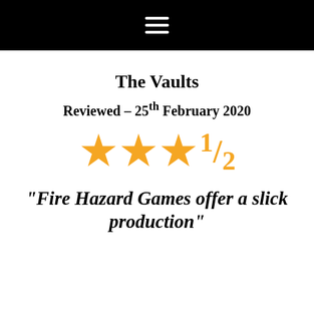The Vaults
Reviewed – 25th February 2020
★★★½
“Fire Hazard Games offer a slick production”